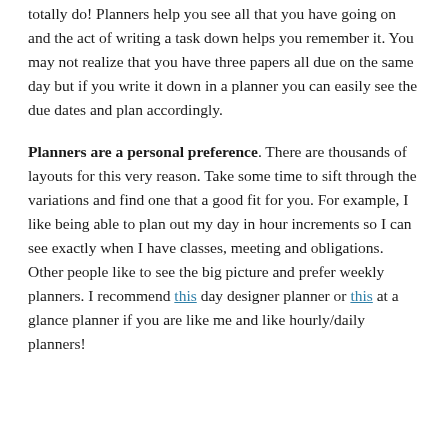totally do! Planners help you see all that you have going on and the act of writing a task down helps you remember it. You may not realize that you have three papers all due on the same day but if you write it down in a planner you can easily see the due dates and plan accordingly.
Planners are a personal preference. There are thousands of layouts for this very reason. Take some time to sift through the variations and find one that a good fit for you. For example, I like being able to plan out my day in hour increments so I can see exactly when I have classes, meeting and obligations. Other people like to see the big picture and prefer weekly planners. I recommend this day designer planner or this at a glance planner if you are like me and like hourly/daily planners!